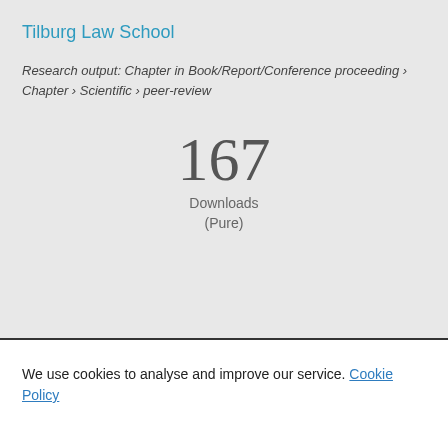Tilburg Law School
Research output: Chapter in Book/Report/Conference proceeding › Chapter › Scientific › peer-review
167
Downloads
(Pure)
Overview
Projects (1)
We use cookies to analyse and improve our service. Cookie Policy